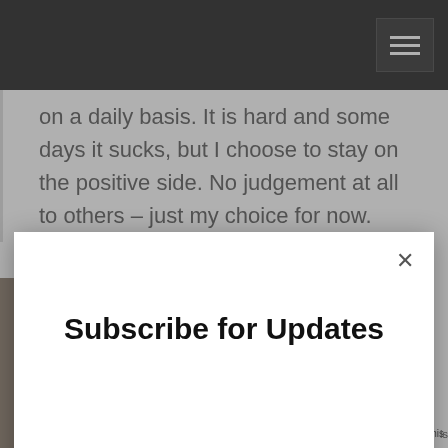[Figure (screenshot): Dark navigation bar at top of webpage with hamburger menu button (three horizontal white lines) on the right side]
on a daily basis. It is hard and some days it sucks, but I choose to stay on the positive side. No judgement at all to others – just my choice for now.
[Figure (screenshot): Subscribe for Updates modal dialog with email input field and Submit button on a white card overlay]
is